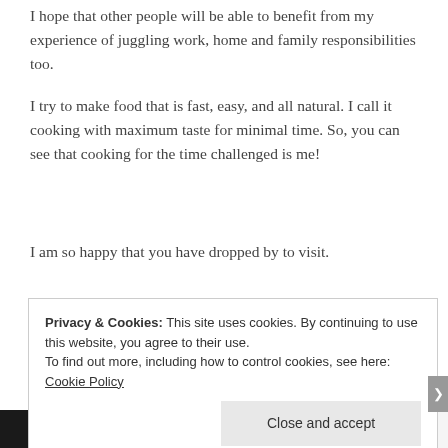I hope that other people will be able to benefit from my experience of juggling work, home and family responsibilities too.
I try to make food that is fast, easy, and all natural. I call it cooking with maximum taste for minimal time. So, you can see that cooking for the time challenged is me!
I am so happy that you have dropped by to visit.
With blessings,
Carol
Privacy & Cookies: This site uses cookies. By continuing to use this website, you agree to their use.
To find out more, including how to control cookies, see here: Cookie Policy

Close and accept
[Figure (screenshot): Bottom ad bar with 'All in One Free App' on left and 'DuckDuckGo' on right]